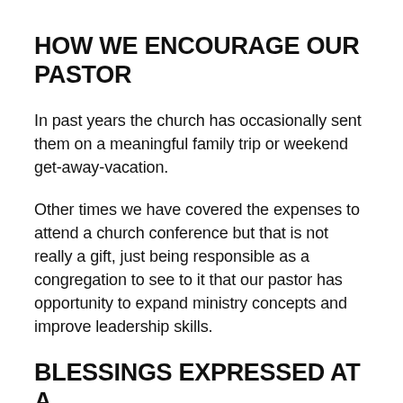HOW WE ENCOURAGE OUR PASTOR
In past years the church has occasionally sent them on a meaningful family trip or weekend get-away-vacation.
Other times we have covered the expenses to attend a church conference but that is not really a gift, just being responsible as a congregation to see to it that our pastor has opportunity to expand ministry concepts and improve leadership skills.
BLESSINGS EXPRESSED AT A SHOWER OF BLESSINGS